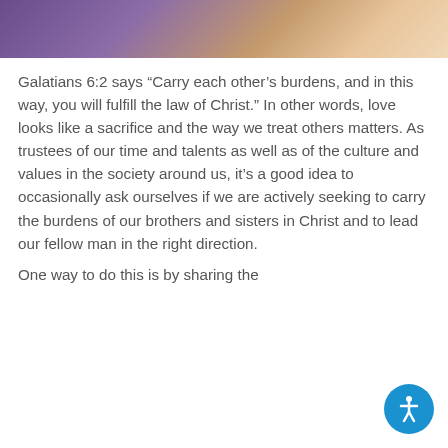[Figure (photo): Partial photo of a person, cropped at the top of the page showing the lower face/neck area with a light purple/white shirt background]
Galatians 6:2 says “Carry each other’s burdens, and in this way, you will fulfill the law of Christ.” In other words, love looks like a sacrifice and the way we treat others matters. As trustees of our time and talents as well as of the culture and values in the society around us, it’s a good idea to occasionally ask ourselves if we are actively seeking to carry the burdens of our brothers and sisters in Christ and to lead our fellow man in the right direction.
One way to do this is by sharing the